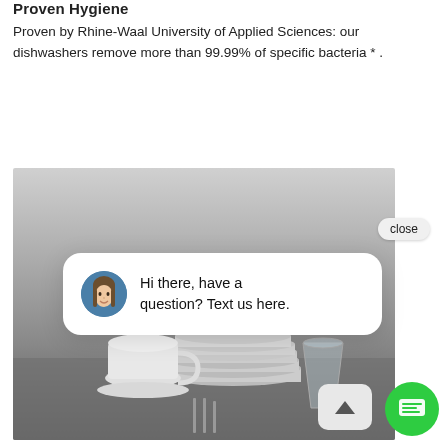Proven Hygiene
Proven by Rhine-Waal University of Applied Sciences: our dishwashers remove more than 99.99% of specific bacteria * .
[Figure (photo): Photo of stacked white dishes and cups on a surface, shown in grayscale/muted tones, with a chat widget overlay showing a woman's avatar and the message 'Hi there, have a question? Text us here.' along with a close button and green chat launcher button.]